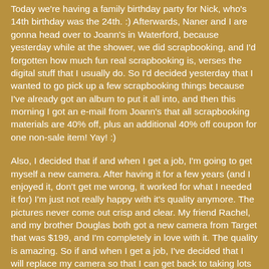Today we're having a family birthday party for Nick, who's 14th birthday was the 24th. :) Afterwards, Naner and I are gonna head over to Joann's in Waterford, because yesterday while at the shower, we did scrapbooking, and I'd forgotten how much fun real scrapbooking is, verses the digital stuff that I usually do. So I'd decided yesterday that I wanted to go pick up a few scrapbooking things because I've already got an album to put it all into, and then this morning I got an e-mail from Joann's that all scrapbooking materials are 40% off, plus an additional 40% off coupon for one non-sale item! Yay! :)
Also, I decided that if and when I get a job, I'm going to get myself a new camera. After having it for a few years (and I enjoyed it, don't get me wrong, it worked for what I needed it for) I'm just not really happy with it's quality anymore. The pictures never come out crisp and clear. My friend Rachel, and my brother Douglas both got a new camera from Target that was $199, and I'm completely in love with it. The quality is amazing. So if and when I get a job, I've decided that I will replace my camera so that I can get back to taking lots of pictures.